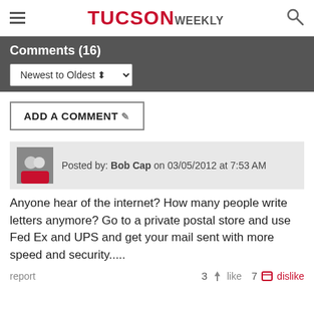TUCSON WEEKLY
Comments (16)
Newest to Oldest
ADD A COMMENT
Posted by: Bob Cap on 03/05/2012 at 7:53 AM
Anyone hear of the internet? How many people write letters anymore? Go to a private postal store and use Fed Ex and UPS and get your mail sent with more speed and security.....
report   3  like   7  dislike